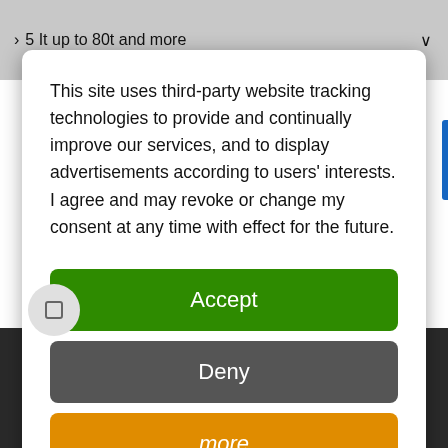5 It up to 80t and more
This site uses third-party website tracking technologies to provide and continually improve our services, and to display advertisements according to users' interests. I agree and may revoke or change my consent at any time with effect for the future.
Accept
Deny
more
Powered by usercentrics
Warranty
Contact Service